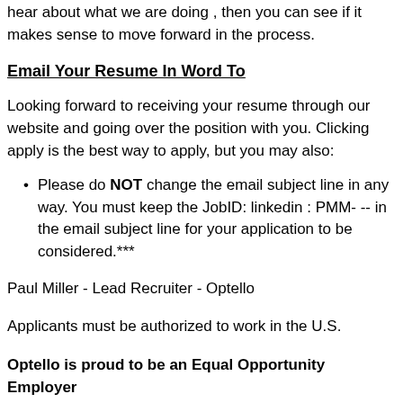hear about what we are doing , then you can see if it makes sense to move forward in the process.
Email Your Resume In Word To
Looking forward to receiving your resume through our website and going over the position with you. Clicking apply is the best way to apply, but you may also:
Please do NOT change the email subject line in any way. You must keep the JobID: linkedin : PMM- -- in the email subject line for your application to be considered.***
Paul Miller - Lead Recruiter - Optello
Applicants must be authorized to work in the U.S.
Optello is proud to be an Equal Opportunity Employer